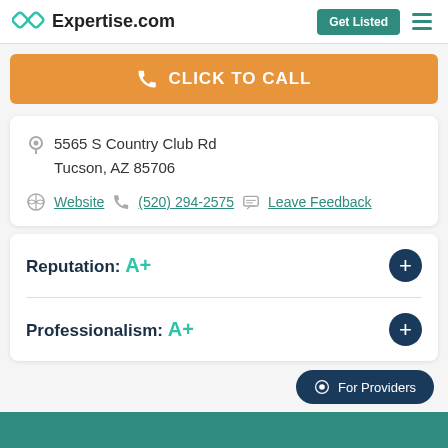Expertise.com | Get Listed
CLICK TO CALL
5565 S Country Club Rd
Tucson, AZ 85706
Website  (520) 294-2575  Leave Feedback
Reputation: A+
Professionalism: A+
For Providers